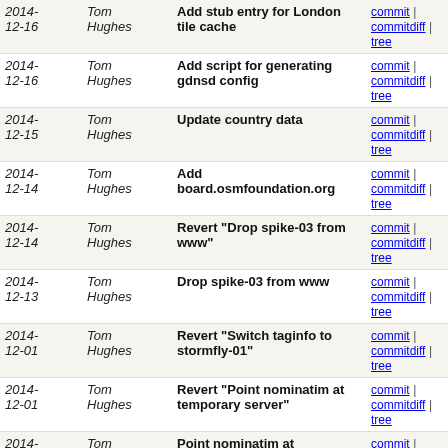| Date | Author | Message | Links |
| --- | --- | --- | --- |
| 2014-12-16 | Tom Hughes | Add stub entry for London tile cache | commit | commitdiff | tree |
| 2014-12-16 | Tom Hughes | Add script for generating gdnsd config | commit | commitdiff | tree |
| 2014-12-15 | Tom Hughes | Update country data | commit | commitdiff | tree |
| 2014-12-14 | Tom Hughes | Add board.osmfoundation.org | commit | commitdiff | tree |
| 2014-12-14 | Tom Hughes | Revert "Drop spike-03 from www" | commit | commitdiff | tree |
| 2014-12-13 | Tom Hughes | Drop spike-03 from www | commit | commitdiff | tree |
| 2014-12-01 | Tom Hughes | Revert "Switch taginfo to stormfly-01" | commit | commitdiff | tree |
| 2014-12-01 | Tom Hughes | Revert "Point nominatim at temporary server" | commit | commitdiff | tree |
| 2014-11-28 | Tom Hughes | Point nominatim at temporary server | commit | commitdiff | tree |
| 2014-11-25 | Tom Hughes | Add saphira to DNS | commit | commitdiff | tree |
| 2014-11-25 | Tom Hughes | Switch taginfo to stormfly-01 | commit | commitdiff | tree |
| 2014-10-26 | Tom Hughes | Swap db and db-slave | commit | commitdiff | tree |
next